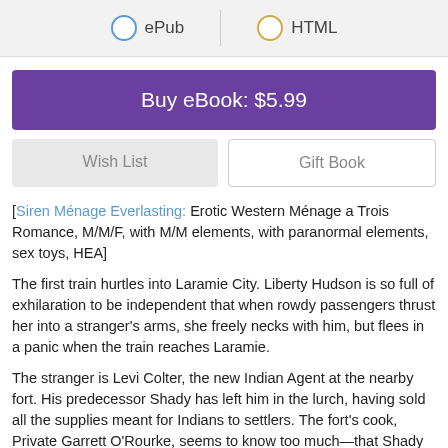[Figure (screenshot): Format selection bar with ePub (blue circle) and HTML (gold circle) radio button options separated by a vertical divider]
Buy eBook: $5.99
Wish List
Gift Book
[Siren Ménage Everlasting: Erotic Western Ménage a Trois Romance, M/M/F, with M/M elements, with paranormal elements, sex toys, HEA]
The first train hurtles into Laramie City. Liberty Hudson is so full of exhilaration to be independent that when rowdy passengers thrust her into a stranger's arms, she freely necks with him, but flees in a panic when the train reaches Laramie.
The stranger is Levi Colter, the new Indian Agent at the nearby fort. His predecessor Shady has left him in the lurch, having sold all the supplies meant for Indians to settlers. The fort's cook, Private Garrett O'Rourke, seems to know too much—that Shady has killed an Indian chief.
Garrett realized that in the nearby mines, he may face a dangerous...